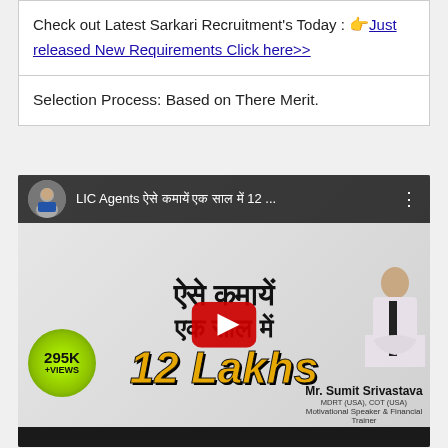Check out Latest Sarkari Recruitment's Today : 👉 Just released New Requirements Click here>>
Selection Process: Based on There Merit.
[Figure (screenshot): YouTube video thumbnail for 'LIC Agents [Hindi] 12 Lakhs' featuring Hindi text 'ऐसे कमायें एक साल में 12 Lakhs' with a play button, a speaker Mr. Sumit Srivastava (MDRT USA, COT USA) - Motivational Speaker & Financial Trainer, 295K+ views badge]